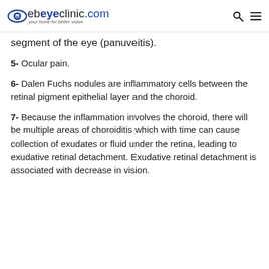webeyeclinic.com — your home for better vision
segment of the eye (panuveitis).
5- Ocular pain.
6- Dalen Fuchs nodules are inflammatory cells between the retinal pigment epithelial layer and the choroid.
7- Because the inflammation involves the choroid, there will be multiple areas of choroiditis which with time can cause collection of exudates or fluid under the retina, leading to exudative retinal detachment. Exudative retinal detachment is associated with decrease in vision.